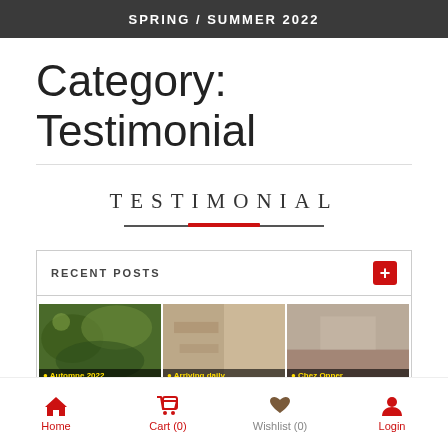SPRING / SUMMER 2022
Category: Testimonial
TESTIMONIAL
RECENT POSTS
[Figure (photo): Three thumbnail images: Automne 2022, Arriving daily, Chez Opper]
Home  Cart (0)  Wishlist (0)  Login